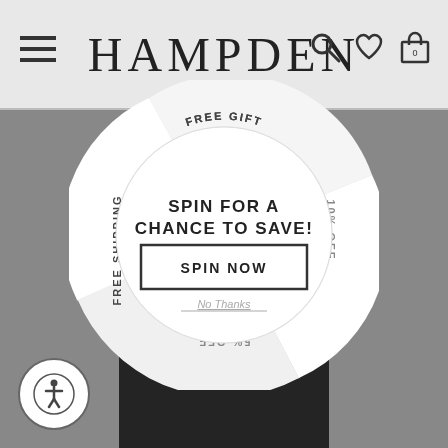HAMPDEN
[Figure (screenshot): Hampden clothing website screenshot showing a spin-to-win promotional wheel overlay on top of a fashion product page with dark clothing background. The wheel shows segments labeled: FREE GIFT with purchase, FREE SHIPPING, 10% OFF, 5% OFF. The center of the wheel has SPIN FOR A CHANCE TO SAVE! text and a SPIN NOW button, with No Thanks link below.]